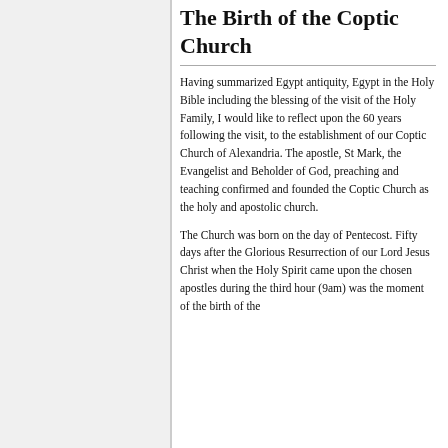The Birth of the Coptic Church
Having summarized Egypt antiquity, Egypt in the Holy Bible including the blessing of the visit of the Holy Family, I would like to reflect upon the 60 years following the visit, to the establishment of our Coptic Church of Alexandria. The apostle, St Mark, the Evangelist and Beholder of God, preaching and teaching confirmed and founded the Coptic Church as the holy and apostolic church.
The Church was born on the day of Pentecost. Fifty days after the Glorious Resurrection of our Lord Jesus Christ when the Holy Spirit came upon the chosen apostles during the third hour (9am) was the moment of the birth of the